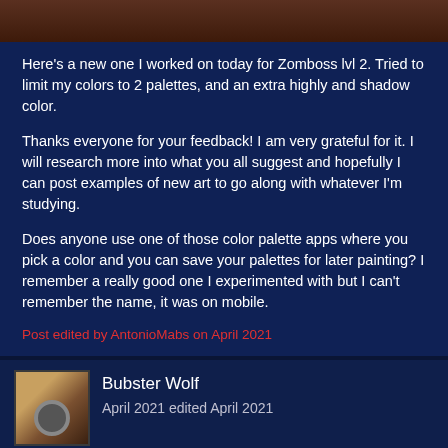[Figure (photo): Partial image at top, dark brown/reddish tones, appears to be a game or artwork screenshot]
Here's a new one I worked on today for Zomboss lvl 2. Tried to limit my colors to 2 palettes, and an extra highly and shadow color.
Thanks everyone for your feedback! I am very grateful for it. I will research more into what you all suggest and hopefully I can post examples of new art to go along with whatever I'm studying.
Does anyone use one of those color palette apps where you pick a color and you can save your palettes for later painting? I remember a really good one I experimented with but I can't remember the name, it was on mobile.
Post edited by AntonioMabs on April 2021
Bubster Wolf
April 2021 edited April 2021